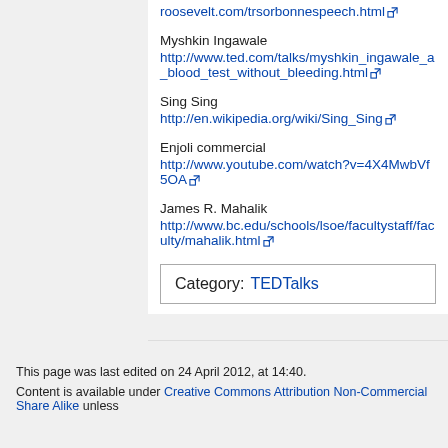roosevelt.com/trsorbonnespeech.html
Myshkin Ingawale
http://www.ted.com/talks/myshkin_ingawale_a_blood_test_without_bleeding.html
Sing Sing
http://en.wikipedia.org/wiki/Sing_Sing
Enjoli commercial
http://www.youtube.com/watch?v=4X4MwbVf5OA
James R. Mahalik
http://www.bc.edu/schools/lsoe/facultystaff/faculty/mahalik.html
| Category: | TEDTalks |
This page was last edited on 24 April 2012, at 14:40.
Content is available under Creative Commons Attribution Non-Commercial Share Alike unless